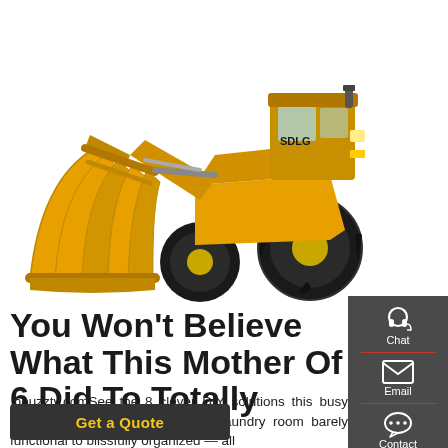[Figure (photo): Yellow SDLG wheel loader with large grapple/claw attachment on white background]
You Won't Believe What This Mother Of 6 Did To Totally
.houzztv.comSee the 8 clever DIY solutions this busy mom came up with to take her laundry room barely functional to blissfully organized — all
Get a Quote